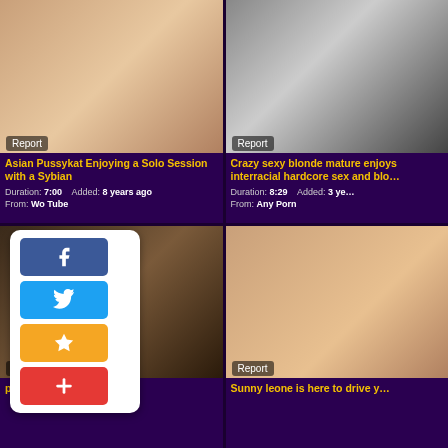[Figure (photo): Thumbnail image - adult content video 1]
Asian Pussykat Enjoying a Solo Session with a Sybian
Duration: 7:00  Added: 8 years ago  From: Wo Tube
[Figure (photo): Thumbnail image - adult content video 2]
Crazy sexy blonde mature enjoys interracial hardcore sex and blo...
Duration: 8:29  Added: 3 years ago  From: Any Porn
[Figure (photo): Thumbnail image - adult content video 3]
persia seduces the guest
[Figure (photo): Thumbnail image - adult content video 4]
Sunny leone is here to drive y...